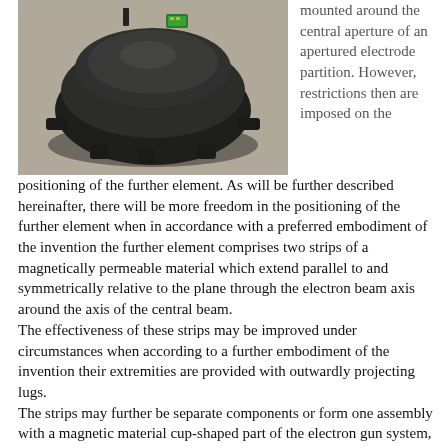[Figure (photo): Photograph of a dark-colored electron gun system component, cup-shaped with outwardly projecting lugs, viewed from above on a concrete surface. A small green circuit board is visible at the top.]
mounted around the central aperture of an apertured electrode partition. However, restrictions then are imposed on the positioning of the further element. As will be further described hereinafter, there will be more freedom in the positioning of the further element when in accordance with a preferred embodiment of the invention the further element comprises two strips of a magnetically permeable material which extend parallel to and symmetrically relative to the plane through the electron beam axis around the axis of the central beam.
The effectiveness of these strips may be improved under circumstances when according to a further embodiment of the invention their extremities are provided with outwardly projecting lugs.
The strips may further be separate components or form one assembly with a magnetic material cup-shaped part of the electron gun system, which facilitates mounting.
An effective embodiment of the invention is characterized in